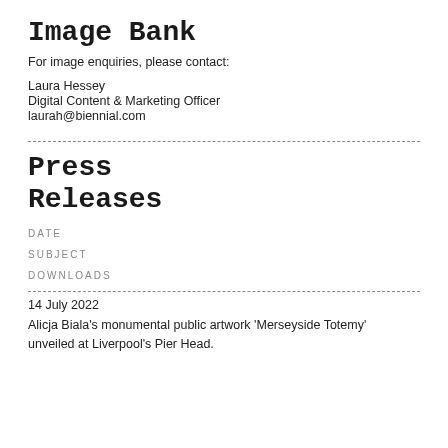Image Bank
For image enquiries, please contact:
Laura Hessey
Digital Content & Marketing Officer
laurah@biennial.com
Press Releases
DATE
SUBJECT
DOWNLOADS
14 July 2022
Alicja Biala's monumental public artwork 'Merseyside Totemy' unveiled at Liverpool's Pier Head.